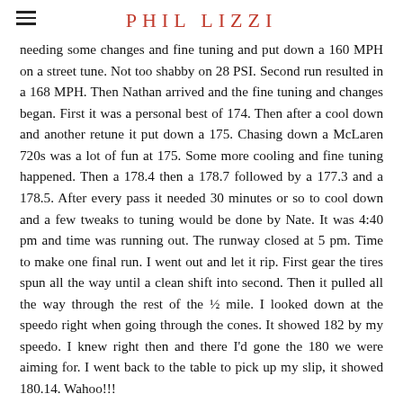PHIL LIZZI
needing some changes and fine tuning and put down a 160 MPH on a street tune. Not too shabby on 28 PSI. Second run resulted in a 168 MPH. Then Nathan arrived and the fine tuning and changes began. First it was a personal best of 174. Then after a cool down and another retune it put down a 175. Chasing down a McLaren 720s was a lot of fun at 175. Some more cooling and fine tuning happened. Then a 178.4 then a 178.7 followed by a 177.3 and a 178.5. After every pass it needed 30 minutes or so to cool down and a few tweaks to tuning would be done by Nate. It was 4:40 pm and time was running out. The runway closed at 5 pm. Time to make one final run. I went out and let it rip. First gear the tires spun all the way until a clean shift into second. Then it pulled all the way through the rest of the ½ mile. I looked down at the speedo right when going through the cones. It showed 182 by my speedo. I knew right then and there I'd gone the 180 we were aiming for. I went back to the table to pick up my slip, it showed 180.14. Wahoo!!!